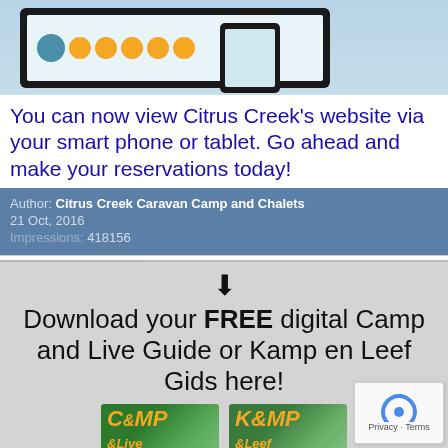[Figure (screenshot): Screenshot of Citrus Creek website displayed on a tablet and smartphone device mockup]
You can now view Citrus Creek's website via your smart phone or tablet. Go ahead and make your reservations today!
Author: Citrus Creek Caravan Camp and Chalets
21 Oct, 2016
Impressions: 418156
Download your FREE digital Camp and Live Guide or Kamp en Leef Gids here!
[Figure (illustration): Two digital guide covers: Camp & Live and Kamp & Leef]